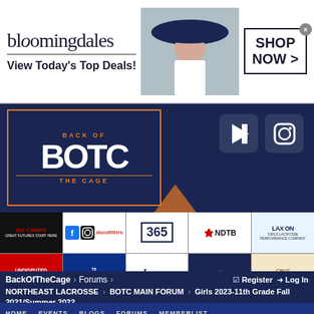[Figure (screenshot): Bloomingdales advertisement banner: bloomingdales logo, 'View Today's Top Deals!' text, woman in blue hat, SHOP NOW button]
[Figure (screenshot): BackOfTheCage.com website header banner with BOTC logo, orange chevron, Instagram and Play Store icons on dark navy background]
[Figure (screenshot): Sponsor logos grid: Go Camps, DSOutfitters, 365, NDTB, LAX ON Girls Lacrosse, Undisputed Showcase D1, True Blue Lacrosse, Legacy, Vantage Sports, Cruz Gold, 01 Undisputed Showcase, Elite80, NLU Lacrosse, CBU Showcase, ConnectLax]
Free Game Film Now Inclu
BackOfTheCage > Forums > Register Log In NORTHEAST LACROSSE > BOTC MAIN FORUM > Girls 2023-11th Grade Fall 2021/Summer 2022
HOME EVENTS BLOGS FORUMS MEMBERLIST
[Figure (screenshot): ULTA Beauty advertisement banner at bottom showing makeup/beauty imagery and SHOP NOW button]